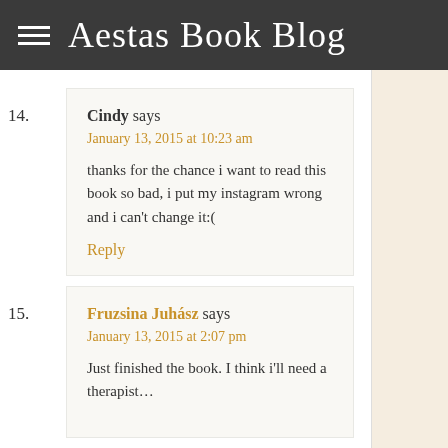Aestas Book Blog
14. Cindy says
January 13, 2015 at 10:23 am
thanks for the chance i want to read this book so bad, i put my instagram wrong and i can't change it:(
Reply
15. Fruzsina Juhász says
January 13, 2015 at 2:07 pm
Just finished the book. I think i'll need a therapist…